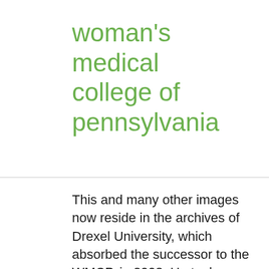woman's medical college of pennsylvania
This and many other images now reside in the archives of Drexel University, which absorbed the successor to the WMCP, in 2003. He took care of his child bride almost like a father. … 1887. Renamed Woman's Medical College of Pennsylvania (MCP) and is the last medical school to go coed in 1970 as MCP. What was I, and what has become of me? He then decided to go to America. In its early days, the Female Medical College of Pennsylvania, or Woman's Medical College as it was renamed in 1867, faced serious opposition from the male medical establishment. Mrs. Carpenter arranged Anandi's admission to the Woman's Medical College of Pennsylvania in Philadelphia. Woman's Medical College of Pennsylvania. We